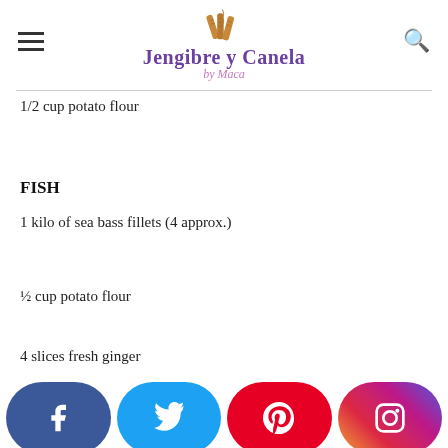Jengibre y Canela by Maca
1/2 cup potato flour
FISH
1 kilo of sea bass fillets (4 approx.)
½ cup potato flour
4 slices fresh ginger